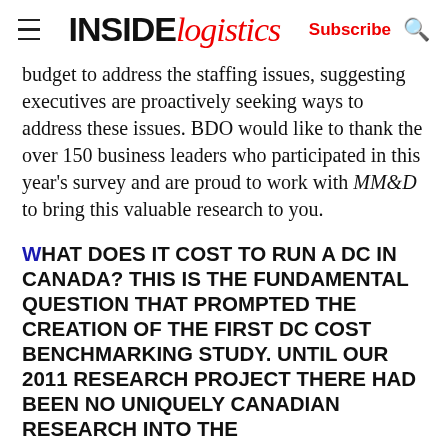INSIDE logistics | Subscribe | Search
budget to address the staffing issues, suggesting executives are proactively seeking ways to address these issues. BDO would like to thank the over 150 business leaders who participated in this year's survey and are proud to work with MM&D to bring this valuable research to you.
WHAT DOES IT COST TO RUN A DC IN CANADA? THIS IS THE FUNDAMENTAL QUESTION THAT PROMPTED THE CREATION OF THE FIRST DC COST BENCHMARKING STUDY. UNTIL OUR 2011 RESEARCH PROJECT THERE HAD BEEN NO UNIQUELY CANADIAN RESEARCH INTO THE